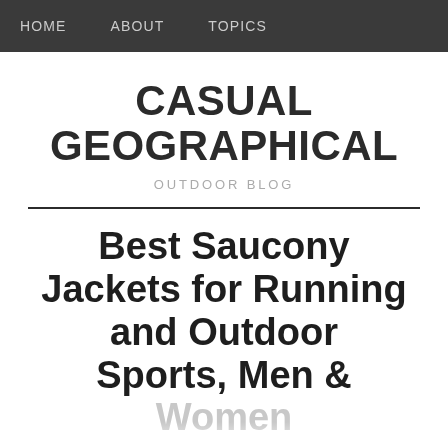HOME   ABOUT   TOPICS
CASUAL GEOGRAPHICAL
OUTDOOR BLOG
Best Saucony Jackets for Running and Outdoor Sports, Men & Women